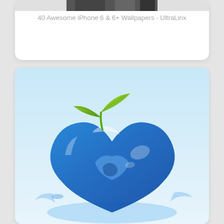[Figure (screenshot): Top card showing a dark/grayscale image thumbnail at center top]
40 Awesome iPhone 6 & 6+ Wallpapers - UltraLinx
[Figure (illustration): Bottom card showing a digital illustration of a blue translucent glass/water heart shape with green leaves, on a light blue background]